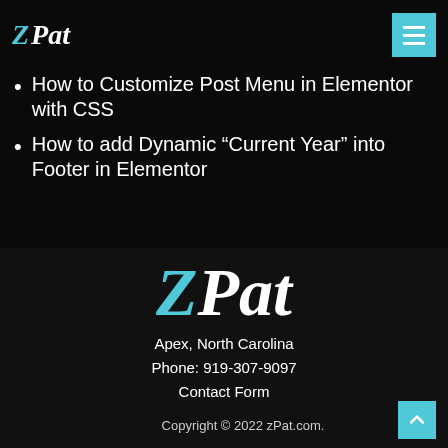[Figure (logo): ZPat logo small with Z in cyan italic and Pat in white italic, top left header]
[Figure (other): Teal/cyan hamburger menu button with three white horizontal lines, top right corner]
How to Customize Post Menu in Elementor with CSS
How to add Dynamic “Current Year” into Footer in Elementor
[Figure (logo): Large ZPat logo with Z in cyan italic and Pat in white italic, centered in footer area]
Apex, North Carolina
Phone: 919-307-9097
Contact Form
Copyright © 2022 zPat.com.